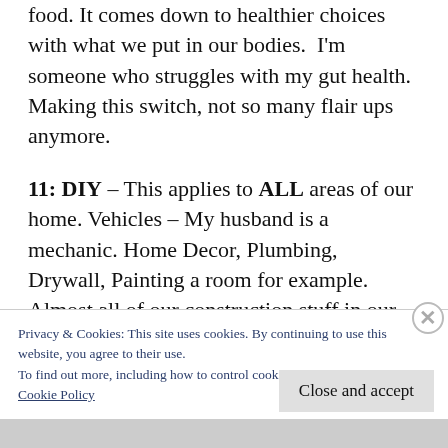food. It comes down to healthier choices with what we put in our bodies.  I'm someone who struggles with my gut health.  Making this switch, not so many flair ups anymore.
11: DIY – This applies to ALL areas of our home. Vehicles – My husband is a mechanic. Home Decor, Plumbing, Drywall, Painting a room for example. Almost all of our construction stuff in our house we do. With the exception of needing professionals when it's above what we can do.
Privacy & Cookies: This site uses cookies. By continuing to use this website, you agree to their use.
To find out more, including how to control cookies, see here:
Cookie Policy
Close and accept